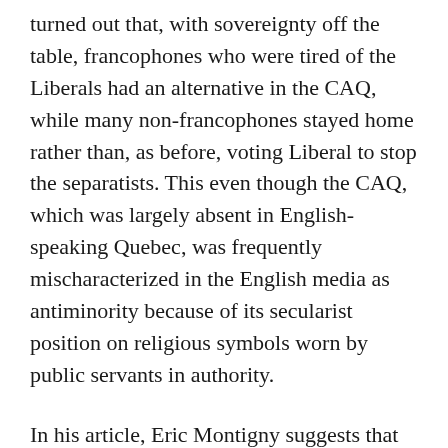turned out that, with sovereignty off the table, francophones who were tired of the Liberals had an alternative in the CAQ, while many non-francophones stayed home rather than, as before, voting Liberal to stop the separatists. This even though the CAQ, which was largely absent in English-speaking Quebec, was frequently mischaracterized in the English media as antiminority because of its secularist position on religious symbols worn by public servants in authority.
In his article, Eric Montigny suggests that the implications could be long-lasting and the October 1 vote could prove to be what political scientists term a realignment election, with new forces